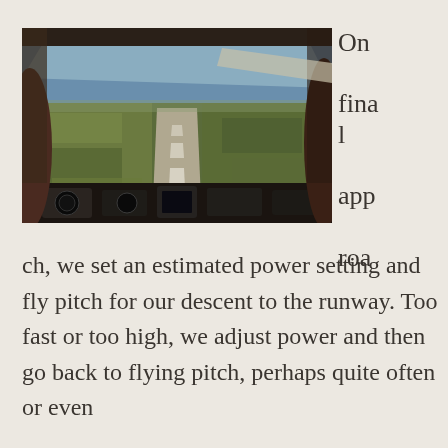[Figure (photo): View from inside a small aircraft cockpit on final approach to a runway, showing the runway ahead through the windshield with agricultural fields on either side, instrument panel visible at the bottom, and two seat headrests visible on the sides.]
On final approach, we set an estimated power setting and fly pitch for our descent to the runway. Too fast or too high, we adjust power and then go back to flying pitch, perhaps quite often or even